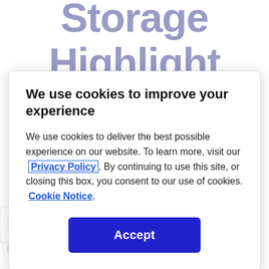Storage Highlight Digital
We use cookies to improve your experience
We use cookies to deliver the best possible experience on our website. To learn more, visit our Privacy Policy. By continuing to use this site, or closing this box, you consent to our use of cookies. Cookie Notice.
Accept
to reality, creating new opportunities and hallenges. In a postpandemic world, erprises need flexibility and agility.
[Figure (logo): Google reCAPTCHA logo with Privacy · Terms text]